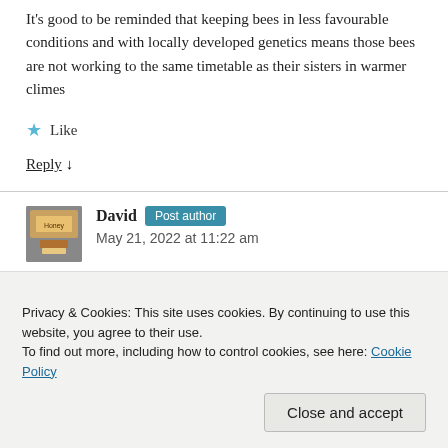It's good to be reminded that keeping bees in less favourable conditions and with locally developed genetics means those bees are not working to the same timetable as their sisters in warmer climes
★ Like
Reply ↓
David  Post author
May 21, 2022 at 11:22 am
Privacy & Cookies: This site uses cookies. By continuing to use this website, you agree to their use.
To find out more, including how to control cookies, see here: Cookie Policy